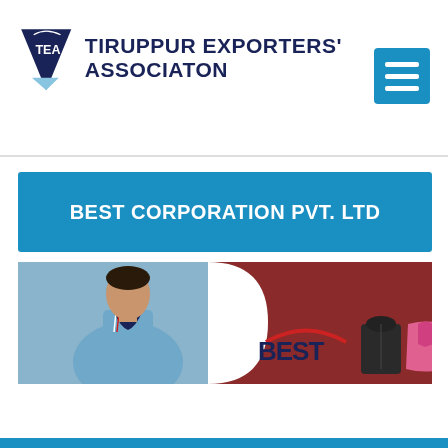[Figure (logo): Tiruppur Exporters' Association logo with TEA triangle emblem and organization name]
BEST CORPORATION PVT. LTD
[Figure (photo): Photo banner showing a man in light blue polo shirt on left with GARMENTS vertical text, and dark red background with BEST logo and garment product images on right]